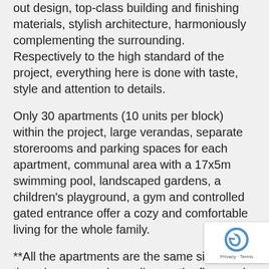out design, top-class building and finishing materials, stylish architecture, harmoniously complementing the surrounding. Respectively to the high standard of the project, everything here is done with taste, style and attention to details.
Only 30 apartments (10 units per block) within the project, large verandas, separate storerooms and parking spaces for each apartment, communal area with a 17x5m swimming pool, landscaped gardens, a children's playground, a gym and controlled gated entrance offer a cozy and comfortable living for the whole family.
**All the apartments are the same size, but the price ranges depending on the floor and the block they are located on.
Prices for 2 bedroom apartments in Block C range from €530000 to €550000.